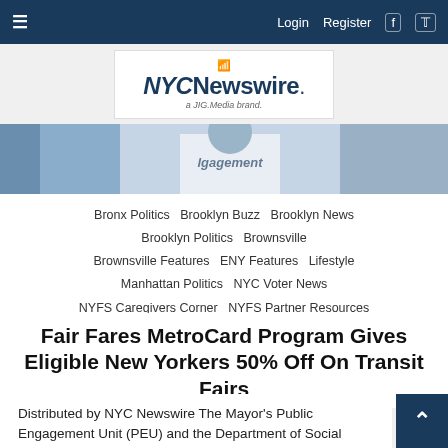NYC Newswire — Login  Register  [Facebook]  [Twitter]
[Figure (logo): NYC Newswire logo — a JIG.Media brand]
[Figure (photo): Cropped photo of person wearing a white shirt with 'engagement' text, outdoor setting]
Bronx Politics
Brooklyn Buzz
Brooklyn News
Brooklyn Politics
Brownsville
Brownsville Features
ENY Features
Lifestyle
Manhattan Politics
NYC Voter News
NYFS Caregivers Corner
NYFS Partner Resources
Politics
Queens Politics
Seniors
Staten Island Politics
Fair Fares MetroCard Program Gives Eligible New Yorkers 50% Off On Transit Fairs
Distributed by NYC Newswire The Mayor's Public Engagement Unit (PEU) and the Department of Social Services (DSS) hosted a press